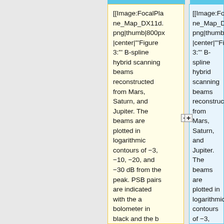[[Image:FocalPlane_Map_DX11d.png|thumb|800px|center|'''Figure 3:''' B-spline hybrid scanning beams reconstructed from Mars, Saturn, and Jupiter. The beams are plotted in logarithmic contours of −3, −10, −20, and −30 dB from the peak. PSB pairs are indicated with the a bolometer in black and the b
[[Image:FocalPlane_Map_DX11d.png|thumb|800px|center|'''Figure 3:''' B-spline hybrid scanning beams reconstructed from Mars, Saturn, and Jupiter. The beams are plotted in logarithmic contours of −3, −10, −20, and −30 dB from the peak. PSB pairs are indicated with the "a" bolometer in black and the "b"